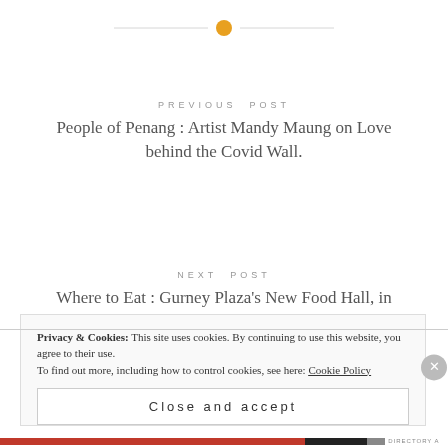[Figure (other): Decorative horizontal line with orange circle in the center at top of page]
PREVIOUS POST
People of Penang : Artist Mandy Maung on Love behind the Covid Wall.
NEXT POST
Where to Eat : Gurney Plaza's New Food Hall, in Pictures!
Privacy & Cookies: This site uses cookies. By continuing to use this website, you agree to their use.
To find out more, including how to control cookies, see here: Cookie Policy
Close and accept